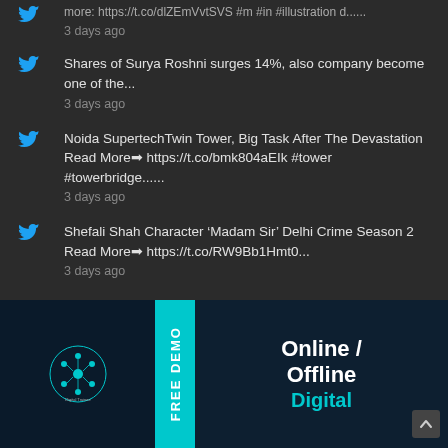more: https://t.co/dlZEmVvtSVS #m #in #illustration d......
3 days ago
Shares of Surya Roshni surges 14%, also company become one of the...
3 days ago
Noida SupertechTwin Tower, Big Task After The Devastation Read More➡ https://t.co/bmk804aEIk #tower #towerbridge......
3 days ago
Shefali Shah Character ‘Madam Sir’ Delhi Crime Season 2 Read More➡ https://t.co/RW9Bb1Hmt0...
3 days ago
[Figure (infographic): Advertisement banner for Digital Trainee with FREE DEMO teal bar on left, and Online / Offline Digital Marketing text on right, dark blue background with logo]